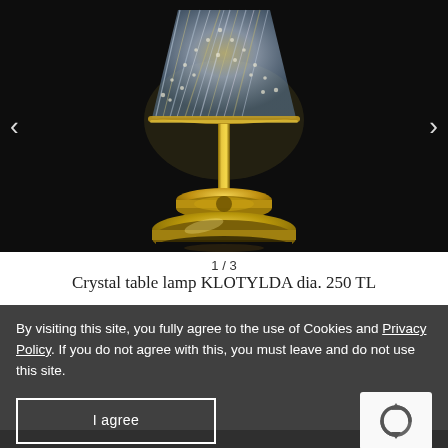[Figure (photo): Crystal table lamp with gold metallic stand on black background, product image from an e-commerce site. Navigation arrows on left and right.]
1 / 3
Crystal table lamp KLOTYLDA dia. 250 TL
By visiting this site, you fully agree to the use of Cookies and Privacy Policy. If you do not agree with this, you must leave and do not use this site.
I agree